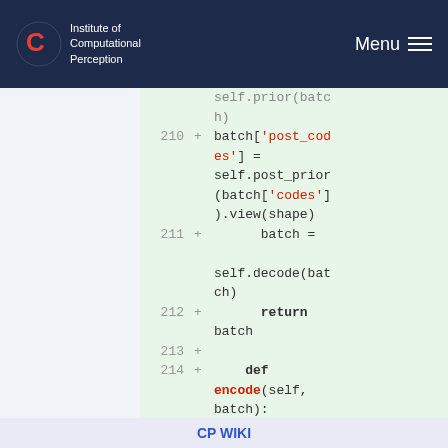Institute of Computational Perception  Menu
[Figure (screenshot): Code diff view showing Python code lines 210-215 with green highlight background. Lines show batch post_codes assignment, self.decode(batch), return batch, def encode(self, batch):, and x = batch['observat...]
CP WIKI